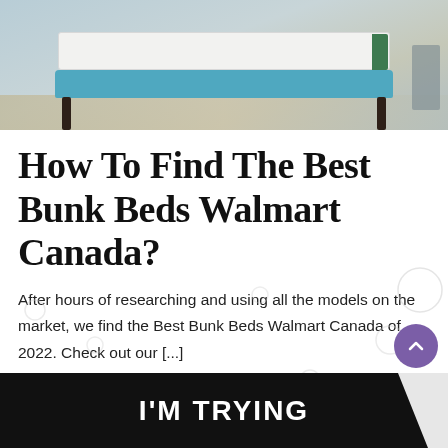[Figure (photo): Photo of a teal/blue platform bed frame with a white mattress on a patterned carpet, shown from front angle]
How To Find The Best Bunk Beds Walmart Canada?
After hours of researching and using all the models on the market, we find the Best Bunk Beds Walmart Canada of 2022. Check out our [...]
March 20, 2022 · 0 · 3 min read
[Figure (photo): Dark banner at bottom with white bold text reading I'M TRYING and a partial white shape on the right side]